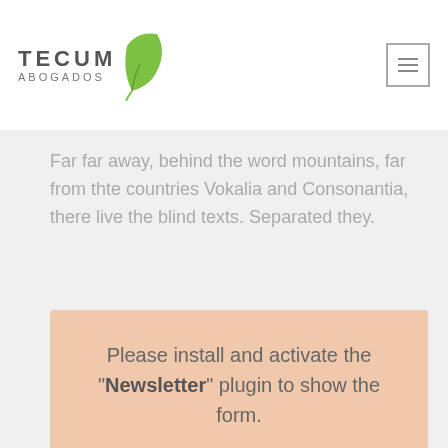[Figure (logo): Tecum Abogados logo with green leaf graphic and text]
Far far away, behind the word mountains, far from thte countries Vokalia and Consonantia, there live the blind texts. Separated they.
Please install and activate the "Newsletter" plugin to show the form.